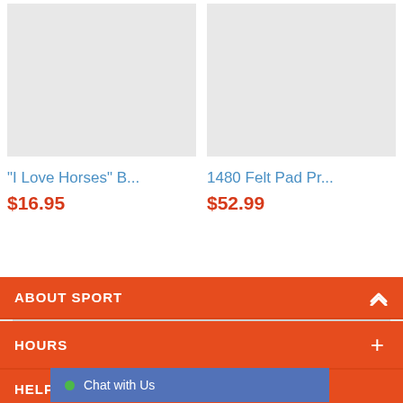[Figure (photo): Product image placeholder (light gray rectangle) for 'I Love Horses' B...]
"I Love Horses" B...
$16.95
[Figure (photo): Product image placeholder (light gray rectangle) for 1480 Felt Pad Pr...]
1480 Felt Pad Pr...
$52.99
ABOUT SPORT
HOURS
HELPFUL LIN...
Chat with Us